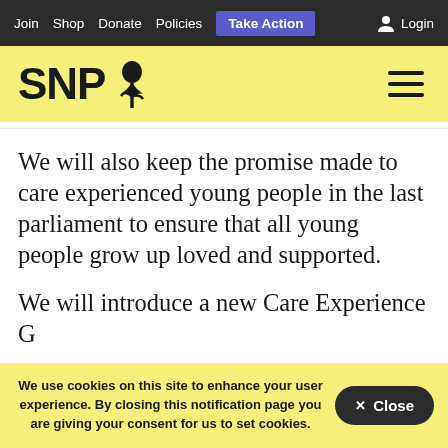Join  Shop  Donate  Policies  Take Action  Login
[Figure (logo): SNP thistle logo with hamburger menu on yellow background]
We will also keep the promise made to care experienced young people in the last parliament to ensure that all young people grow up loved and supported.
We will introduce a new Care Experience Grant…
We use cookies on this site to enhance your user experience. By closing this notification page you are giving your consent for us to set cookies.